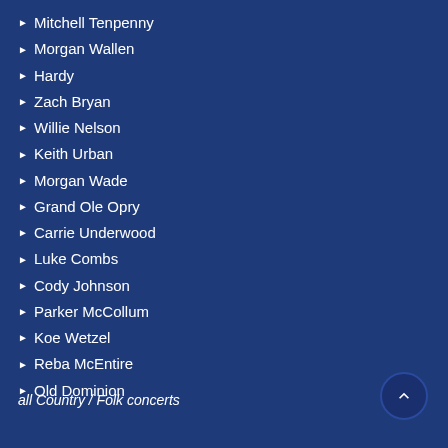Mitchell Tenpenny
Morgan Wallen
Hardy
Zach Bryan
Willie Nelson
Keith Urban
Morgan Wade
Grand Ole Opry
Carrie Underwood
Luke Combs
Cody Johnson
Parker McCollum
Koe Wetzel
Reba McEntire
Old Dominion
all Country / Folk concerts